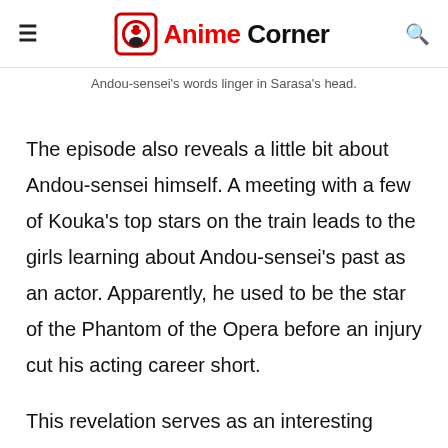Anime Corner
Andou-sensei's words linger in Sarasa's head.
The episode also reveals a little bit about Andou-sensei himself. A meeting with a few of Kouka's top stars on the train leads to the girls learning about Andou-sensei's past as an actor. Apparently, he used to be the star of the Phantom of the Opera before an injury cut his acting career short.
This revelation serves as an interesting contrast between his experience and the words he says to Sarasa. It also encapsulates the themes of this